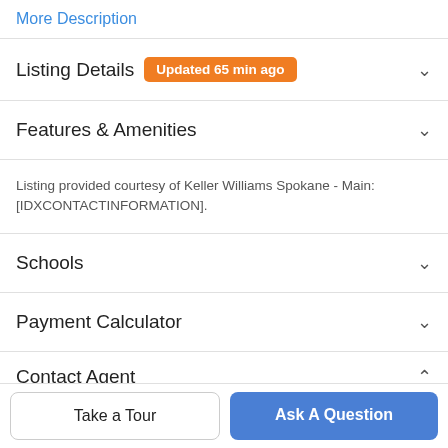More Description
Listing Details Updated 65 min ago
Features & Amenities
Listing provided courtesy of Keller Williams Spokane - Main: [IDXCONTACTINFORMATION].
Schools
Payment Calculator
Contact Agent
Take a Tour
Ask A Question